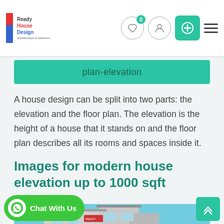Ready House Design
plan-elevation
A house design can be split into two parts: the elevation and the floor plan. The elevation is the height of a house that it stands on and the floor plan describes all its rooms and spaces inside it.
Images for modern house elevation up to 1000 sqft
[Figure (photo): Partial view of a modern house elevation, showing a two-storey building against a blue sky background]
Chat With Us